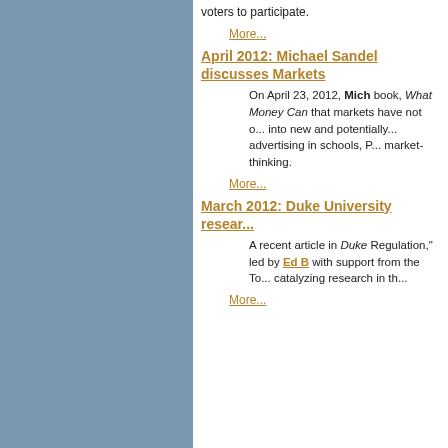voters to participate.
More...
April 2012: Michael Sandel discusses Markets
On April 23, 2012, Michael Sandel discussed his book, What Money Can... that markets have not o... into new and potentially... advertising in schools, P... market-thinking.
More...
March 2012: Duke University resear...
A recent article in Duke... Regulation," led by Ed B... with support from the To... catalyzing research in th...
More...